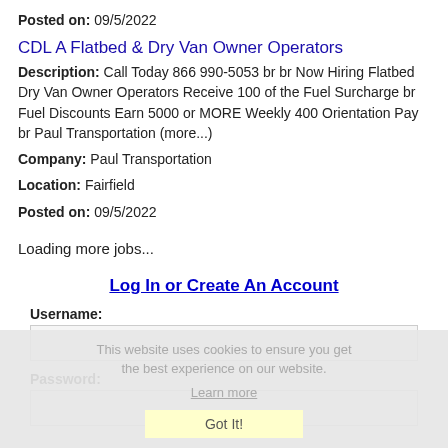Posted on: 09/5/2022
CDL A Flatbed & Dry Van Owner Operators
Description: Call Today 866 990-5053 br br Now Hiring Flatbed Dry Van Owner Operators Receive 100 of the Fuel Surcharge br Fuel Discounts Earn 5000 or MORE Weekly 400 Orientation Pay br Paul Transportation (more...)
Company: Paul Transportation
Location: Fairfield
Posted on: 09/5/2022
Loading more jobs...
Log In or Create An Account
This website uses cookies to ensure you get the best experience on our website.
Learn more
Username:
Password:
Got It!